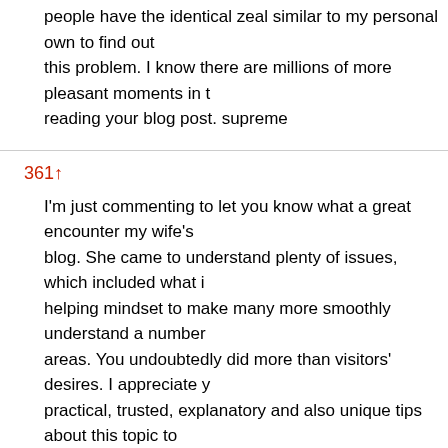people have the identical zeal similar to my personal own to find out this problem. I know there are millions of more pleasant moments in reading your blog post. supreme
361↑
I'm just commenting to let you know what a great encounter my wife's blog. She came to understand plenty of issues, which included what i helping mindset to make many more smoothly understand a number areas. You undoubtedly did more than visitors' desires. I appreciate y practical, trusted, explanatory and also unique tips about this topic to
362↑
I simply had to thank you very much once more. I am not sure what I out in the absence of these methods shown by you over such situatio horrifying difficulty in my circumstances, but coming across the very s it took me to weep with delight. I will be happy for your information am you comprehend what an amazing job you have been accomplishing